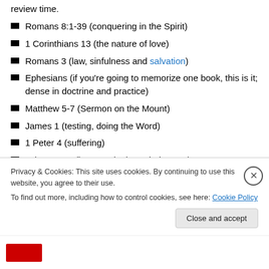review time.
Romans 8:1-39 (conquering in the Spirit)
1 Corinthians 13 (the nature of love)
Romans 3 (law, sinfulness and salvation)
Ephesians (if you're going to memorize one book, this is it; dense in doctrine and practice)
Matthew 5-7 (Sermon on the Mount)
James 1 (testing, doing the Word)
1 Peter 4 (suffering)
John 3:1-21 (born again through the Son)
Philippians 2:1-18 (humility)
Privacy & Cookies: This site uses cookies. By continuing to use this website, you agree to their use. To find out more, including how to control cookies, see here: Cookie Policy
Close and accept